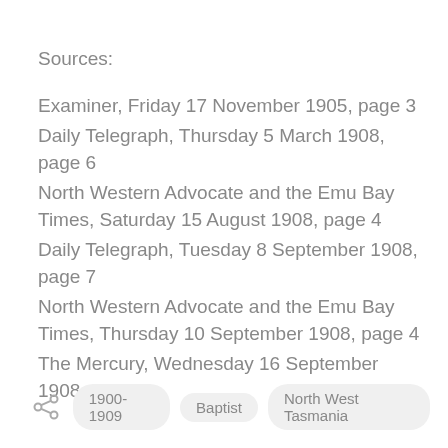Sources:
Examiner, Friday 17 November 1905, page 3
Daily Telegraph, Thursday 5 March 1908, page 6
North Western Advocate and the Emu Bay Times, Saturday 15 August 1908, page 4
Daily Telegraph, Tuesday 8 September 1908, page 7
North Western Advocate and the Emu Bay Times, Thursday 10 September 1908, page 4
The Mercury, Wednesday 16 September 1908, page 3
1900-1909   Baptist   North West Tasmania